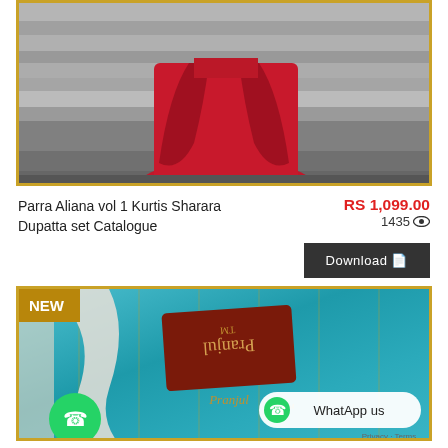[Figure (photo): Product photo of a red kurti sharara dupatta set, showing lower half of a model wearing flowing red outfit against a stone wall background, framed with gold border]
Parra Aliana vol 1 Kurtis Sharara Dupatta set Catalogue
RS 1,099.00
1435
Download
[Figure (photo): Product photo showing teal/turquoise fabric with a dark red Pranjul brand label tag, with NEW badge overlay]
WhatApp us
Privacy · Terms